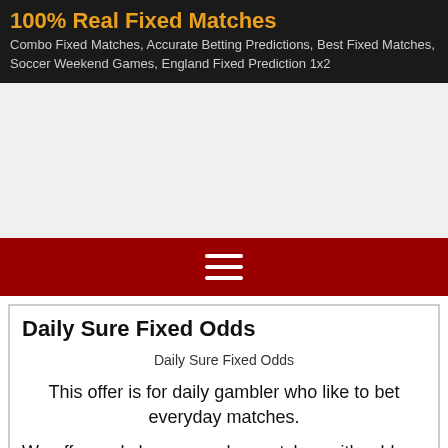100% Real Fixed Matches
Combo Fixed Matches, Accurate Betting Predictions, Best Fixed Matches, Soccer Weekend Games, England Fixed Prediction 1x2
[Figure (other): Empty advertisement or blank area below the site header]
[Figure (other): Navigation bar with hamburger menu icon (three horizontal white lines) on a dark red background]
Daily Sure Fixed Odds
Daily Sure Fixed Odds
This offer is for daily gambler who like to bet everyday matches.
We offer and show everyday matches with odds